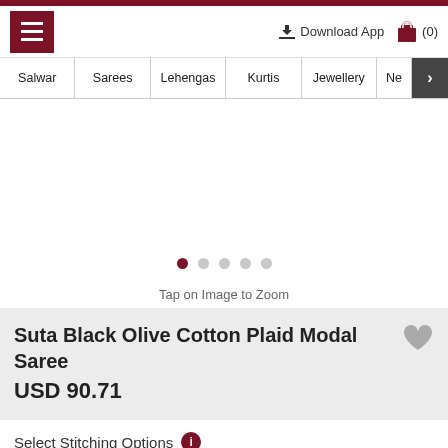≡  Download App  (0)
Salwar
Sarees
Lehengas
Kurtis
Jewellery
Ne
[Figure (screenshot): Product image area with 5 navigation dots; first dot active in dark red]
Tap on Image to Zoom
Suta Black Olive Cotton Plaid Modal Saree
USD 90.71
Select Stitching Options
Select Blouse
Unstitched Blouse - Free